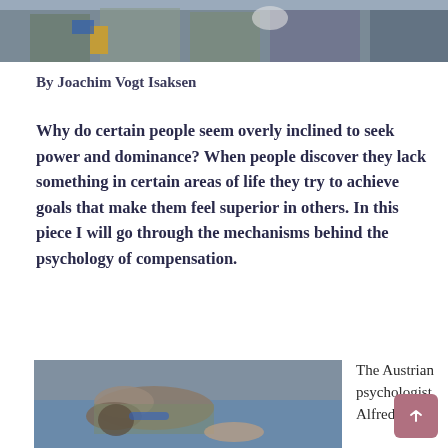[Figure (photo): Top photo showing military/uniformed personnel, partially cropped at top of page]
By Joachim Vogt Isaksen
Why do certain people seem overly inclined to seek power and dominance? When people discover they lack something in certain areas of life they try to achieve goals that make them feel superior in others. In this piece I will go through the mechanisms behind the psychology of compensation.
[Figure (photo): Photo of two soldiers/military personnel grappling or wrestling on the ground]
The Austrian psychologist Alfred